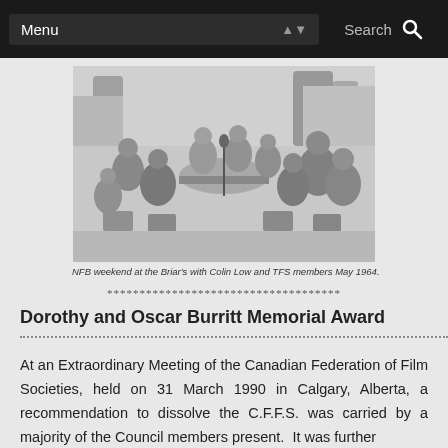Menu | Search
[Figure (photo): Black and white photograph of people seated in a circle outdoors, some in lawn chairs, at an NFB weekend gathering.]
NFB weekend at the Briar's with Colin Low and TFS members May 1964.
************************************
Dorothy and Oscar Burritt Memorial Award
At an Extraordinary Meeting of the Canadian Federation of Film Societies, held on 31 March 1990 in Calgary, Alberta, a recommendation to dissolve the C.F.F.S. was carried by a majority of the Council members present.  It was further